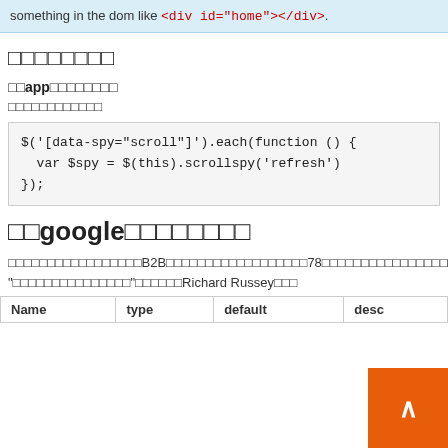something in the dom like <div id="home"></div>.
□□□□□□□□
□□app□□□□□□□□
□□□□□□□□□□□□
□□google□□□□□□□□
□□□□□□□□□□□□□□□□□B2B□□□□□□□□□□□□□□□□□□78□□□□□□□□□□□□□□□□□□□□□ "□□□□□□□□□□□□□□□"□□□□□□Richard Russey□□□
| Name | type | default | desc |
| --- | --- | --- | --- |